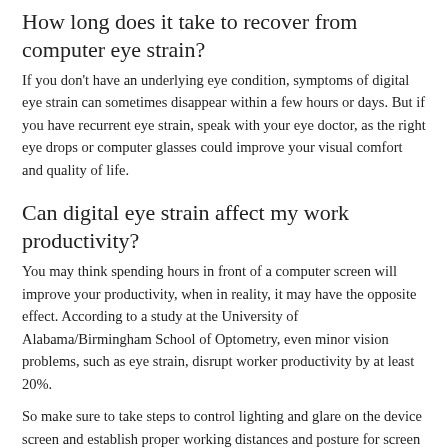How long does it take to recover from computer eye strain?
If you don't have an underlying eye condition, symptoms of digital eye strain can sometimes disappear within a few hours or days. But if you have recurrent eye strain, speak with your eye doctor, as the right eye drops or computer glasses could improve your visual comfort and quality of life.
Can digital eye strain affect my work productivity?
You may think spending hours in front of a computer screen will improve your productivity, when in reality, it may have the opposite effect. According to a study at the University of Alabama/Birmingham School of Optometry, even minor vision problems, such as eye strain, disrupt worker productivity by at least 20%.
So make sure to take steps to control lighting and glare on the device screen and establish proper working distances and posture for screen viewing. To learn more and to alleviate or prevent eye strain, contact Marc E. Sorsky, O.D. today.